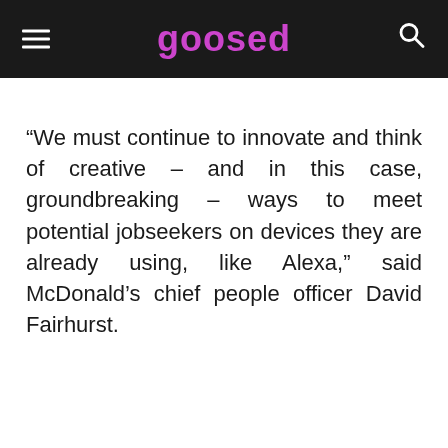goosed
“We must continue to innovate and think of creative – and in this case, groundbreaking – ways to meet potential jobseekers on devices they are already using, like Alexa,” said McDonald’s chief people officer David Fairhurst.